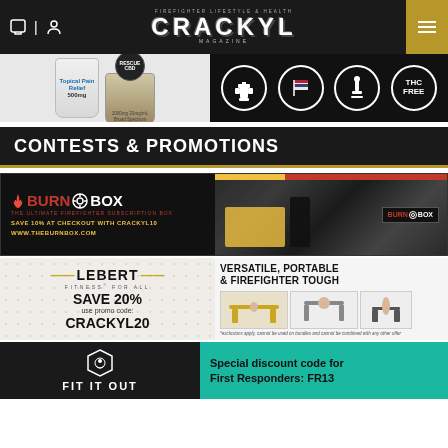CRACKYL MAGAZINE — Firefighter Lifestyle & Health — header navigation
[Figure (photo): Rescue CBD product advertisement banner showing topical pain relief bottles (500mg, 1000mg) and circular badge icons including THC FREE badge on dark background]
CONTESTS & PROMOTIONS
[Figure (photo): Burn Box advertisement banner — The Ultimate Firefighter Subscription Box. Save 10% at checkout with CRACKYL10. www.theburnbox.com. Shows gym/equipment photo with Burn Box branding on right side.]
[Figure (photo): Lebert Fitness advertisement — Save 20%, use promo code: CRACKYL20. Versatile, Portable & Firefighter Tough. Shows fitness equipment images. Exclusions apply disclaimer at bottom.]
[Figure (photo): Fit It Out advertisement banner — Special discount code for First Responders: FR13. Teal/dark background with logo.]